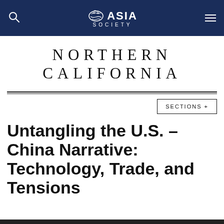Asia Society Northern California
NORTHERN CALIFORNIA
SECTIONS +
Untangling the U.S. – China Narrative: Technology, Trade, and Tensions